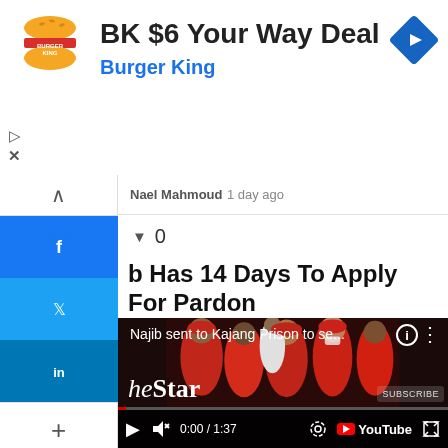[Figure (screenshot): Burger King advertisement banner with BK logo, title 'BK $6 Your Way Deal', subtitle 'Burger King', and a blue navigation arrow icon on the right.]
Nael Mahmoud
1 day ago
▼ 0
b Has 14 Days To Apply For Pardon
[Figure (screenshot): YouTube video thumbnail showing people dressed in red, with The Star logo overlay. Video title: 'Najib sent to Kajang Prison to se...' Video controls show 0:00 / 1:37. Social media share buttons on the left sidebar (Facebook, Twitter, LinkedIn).]